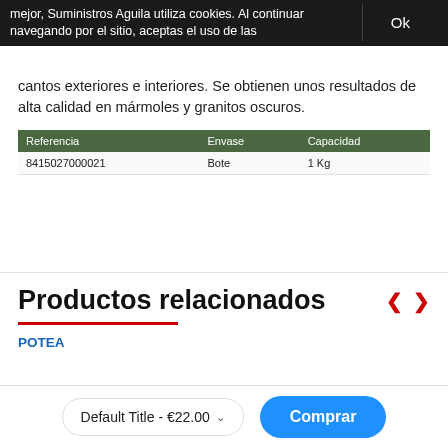mejor, Suministros Aguila utiliza cookies. Al continuar navegando por el sitio, aceptas el uso de las
Ok
cantos exteriores e interiores. Se obtienen unos resultados de alta calidad en mármoles y granitos oscuros.
| Referencia | Envase | Capacidad |
| --- | --- | --- |
| 8415027000021 | Bote | 1 Kg |
Productos relacionados
POTEA
Default Title - €22.00
Comprar